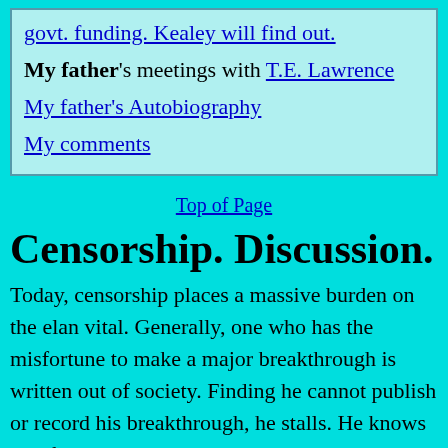govt. funding. Kealey will find out.
My father's meetings with T.E. Lawrence
My father's Autobiography
My comments
Top of Page
Censorship. Discussion.
Today, censorship places a massive burden on the elan vital. Generally, one who has the misfortune to make a major breakthrough is written out of society. Finding he cannot publish or record his breakthrough, he stalls. He knows that further progress in his speciality is valueless, since, having failed even to record the major advance already made, he will merely increase the separation